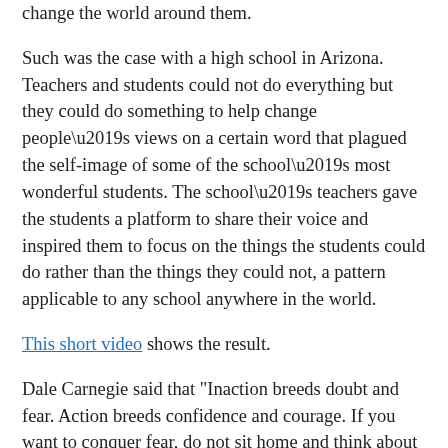change the world around them.
Such was the case with a high school in Arizona. Teachers and students could not do everything but they could do something to help change people’s views on a certain word that plagued the self-image of some of the school’s most wonderful students. The school’s teachers gave the students a platform to share their voice and inspired them to focus on the things the students could do rather than the things they could not, a pattern applicable to any school anywhere in the world.
This short video shows the result.
Dale Carnegie said that "Inaction breeds doubt and fear. Action breeds confidence and courage. If you want to conquer fear, do not sit home and think about it. Go out and get busy." Much more than you think, people are watching you and your example. Mostly, they’re watching what you DO. The sphere of influence we all